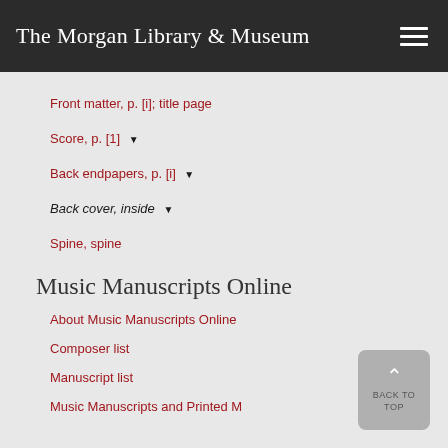The Morgan Library & Museum
Front matter, p. [i]; title page
Score, p. [1]
Back endpapers, p. [i]
Back cover, inside
Spine, spine
Music Manuscripts Online
About Music Manuscripts Online
Composer list
Manuscript list
Music Manuscripts and Printed Music objects